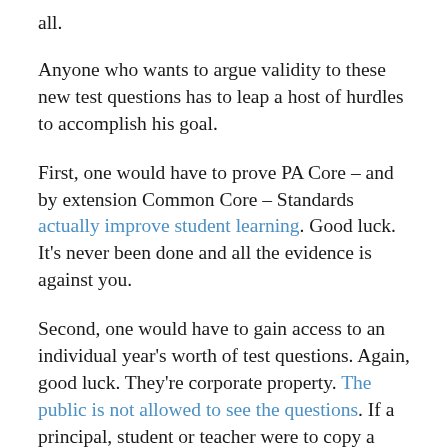all.
Anyone who wants to argue validity to these new test questions has to leap a host of hurdles to accomplish his goal.
First, one would have to prove PA Core – and by extension Common Core – Standards actually improve student learning. Good luck. It's never been done and all the evidence is against you.
Second, one would have to gain access to an individual year's worth of test questions. Again, good luck. They're corporate property. The public is not allowed to see the questions. If a principal, student or teacher were to copy a question or snap a photo of a test, they could be